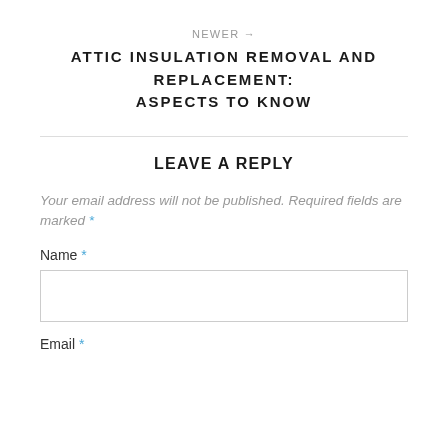NEWER →
ATTIC INSULATION REMOVAL AND REPLACEMENT: ASPECTS TO KNOW
LEAVE A REPLY
Your email address will not be published. Required fields are marked *
Name *
Email *